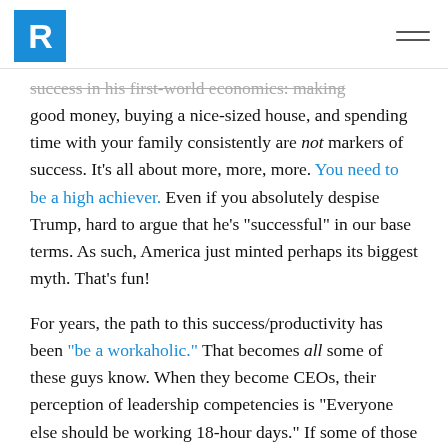R [logo]
success in his first-world economics: making good money, buying a nice-sized house, and spending time with your family consistently are not markers of success. It's all about more, more, more. You need to be a high achiever. Even if you absolutely despise Trump, hard to argue that he's “successful” in our base terms. As such, America just minted perhaps its biggest myth. That’s fun!
For years, the path to this success/productivity has been “be a workaholic.” That becomes all some of these guys know. When they become CEOs, their perception of leadership competencies is “Everyone else should be working 18-hour days.” If some of those people have three kids under 10 or